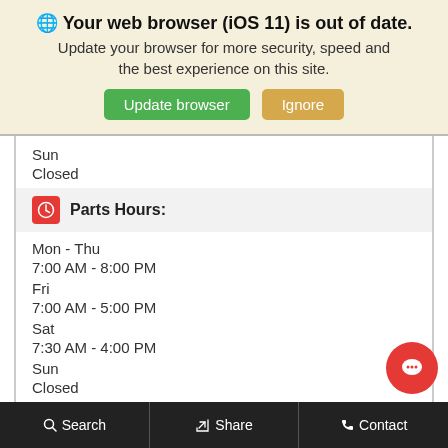[Figure (screenshot): Browser out-of-date banner with globe icon, update browser button (green) and ignore button (tan)]
Sun
Closed
Parts Hours:
Mon - Thu
7:00 AM - 8:00 PM
Fri
7:00 AM - 5:00 PM
Sat
7:30 AM - 4:00 PM
Sun
Closed
Search   Share   Contact